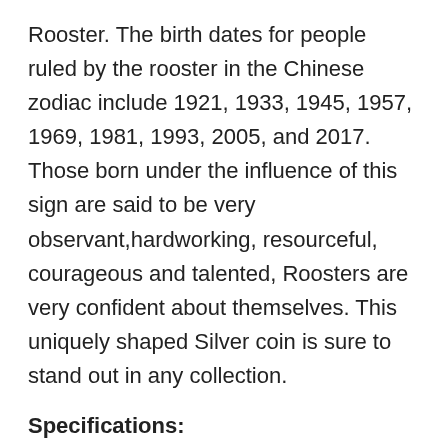Rooster. The birth dates for people ruled by the rooster in the Chinese zodiac include 1921, 1933, 1945, 1957, 1969, 1981, 1993, 2005, and 2017. Those born under the influence of this sign are said to be very observant,hardworking, resourceful, courageous and talented, Roosters are very confident about themselves. This uniquely shaped Silver coin is sure to stand out in any collection.
Specifications:
Year: 2017
Quality: Proof
Denomination: 10 Yuan
Metal Content: 30 Gram
Purity: .999